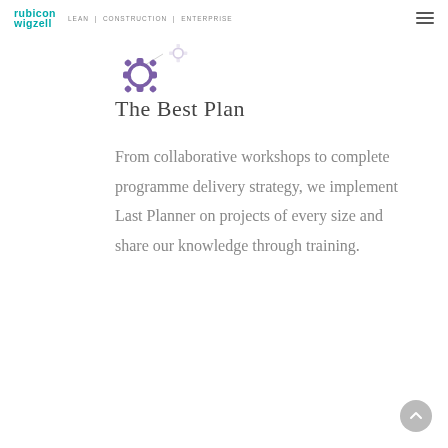rubicon wigzell | LEAN | CONSTRUCTION | ENTERPRISE
[Figure (illustration): Purple gear/settings icon with small connected gear, decorative element for 'The Best Plan' section]
The Best Plan
From collaborative workshops to complete programme delivery strategy, we implement Last Planner on projects of every size and share our knowledge through training.